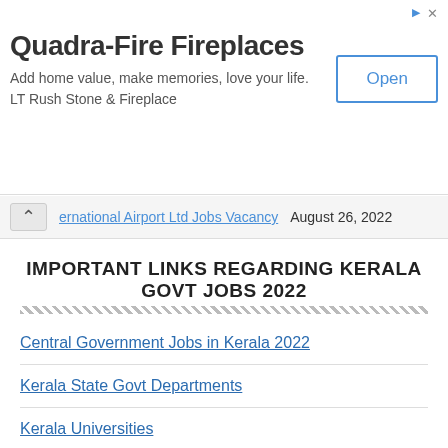[Figure (other): Advertisement banner for Quadra-Fire Fireplaces with title, subtitle, and Open button]
ernational Airport Ltd Jobs Vacancy August 26, 2022
IMPORTANT LINKS REGARDING KERALA GOVT JOBS 2022
Central Government Jobs in Kerala 2022
Kerala State Govt Departments
Kerala Universities
E-Employment Exchanges Kerala
KPSC Recruitment 2022 – Kerala PSC Latest Jobs